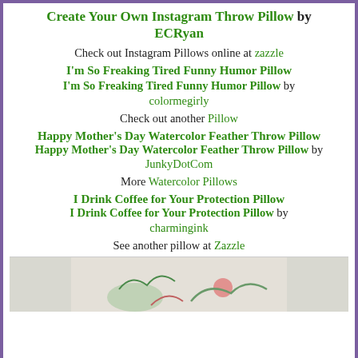Create Your Own Instagram Throw Pillow by ECRyan
Check out Instagram Pillows online at zazzle
[Figure (photo): Broken image placeholder for I'm So Freaking Tired Funny Humor Pillow]
I'm So Freaking Tired Funny Humor Pillow by colormegirly
Check out another Pillow
[Figure (photo): Broken image placeholder for Happy Mother's Day Watercolor Feather Throw Pillow]
Happy Mother's Day Watercolor Feather Throw Pillow by JunkyDotCom
More Watercolor Pillows
[Figure (photo): Broken image placeholder for I Drink Coffee for Your Protection Pillow]
I Drink Coffee for Your Protection Pillow by charmingink
See another pillow at Zazzle
[Figure (photo): Bottom image of a decorative pillow with watercolor feather design]